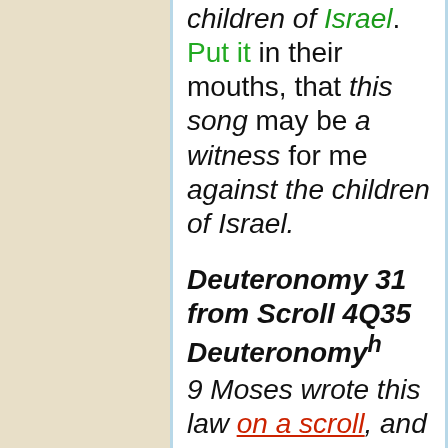children of Israel. Put it in their mouths, that this song may be a witness for me against the children of Israel.
Deuteronomy 31 from Scroll 4Q35 Deuteronomyh
9 Moses wrote this law on a scroll, and delivered it to the priests the sons of Levi, who bore the ark of Yahweh's